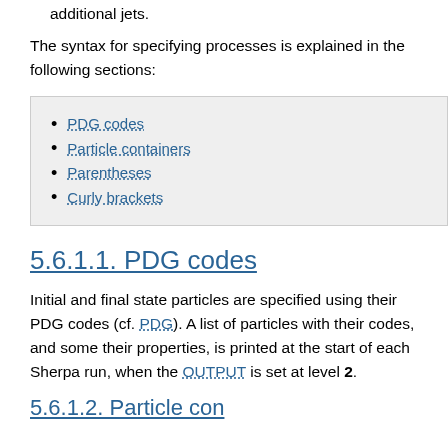additional jets.
The syntax for specifying processes is explained in the following sections:
PDG codes
Particle containers
Parentheses
Curly brackets
5.6.1.1. PDG codes
Initial and final state particles are specified using their PDG codes (cf. PDG). A list of particles with their codes, and some their properties, is printed at the start of each Sherpa run, when the OUTPUT is set at level 2.
5.6.1.2. Particle containers